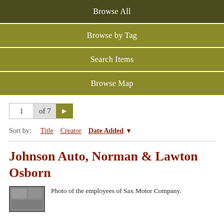Browse All
Browse by Tag
Search Items
Browse Map
1 of 7 >
Sort by: Title  Creator  Date Added ▼
Johnson Auto, Norman & Lawton Osborn
Photo of the employees of Sax Motor Company.